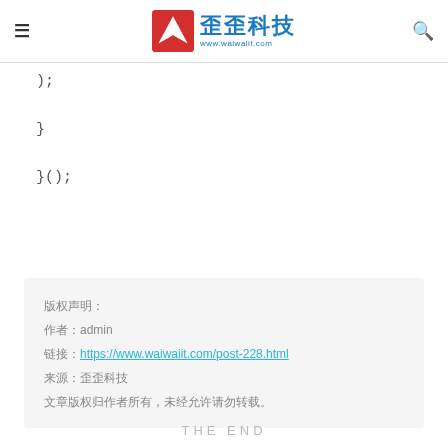歪歪科技 www.waiwaiit.com
);

}

}();
版权声明：
作者：admin
链接：https://www.waiwaiit.com/post-228.html
来源：歪歪科技
文章版权归作者所有，未经允许请勿转载。
THE END